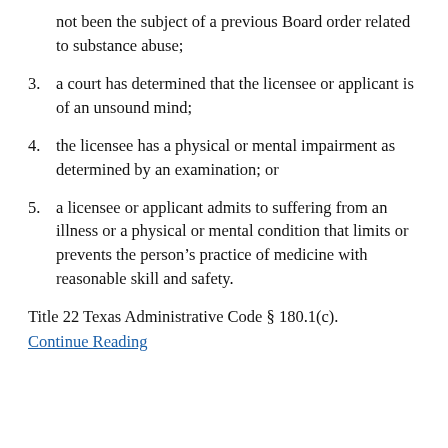not been the subject of a previous Board order related to substance abuse;
3. a court has determined that the licensee or applicant is of an unsound mind;
4. the licensee has a physical or mental impairment as determined by an examination; or
5. a licensee or applicant admits to suffering from an illness or a physical or mental condition that limits or prevents the person’s practice of medicine with reasonable skill and safety.
Title 22 Texas Administrative Code § 180.1(c).
Continue Reading